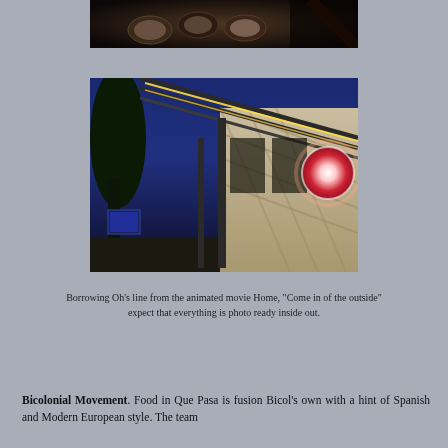[Figure (photo): Top portion of a food photo showing plates/dishes on a dark surface, partially visible at top of page]
[Figure (photo): Night exterior photo of a restaurant building with blue sky, illuminated metal roof structure, stone/concrete walls, palm tree on left, a glowing circular sign on the right wall, and a screen visible on lower left]
Borrowing Oh's line from the animated movie Home, "Come in of the outside" expect that everything is photo ready inside out.
Bicolonial Movement. Food in Que Pasa is fusion Bicol's own with a hint of Spanish and Modern European style. The team